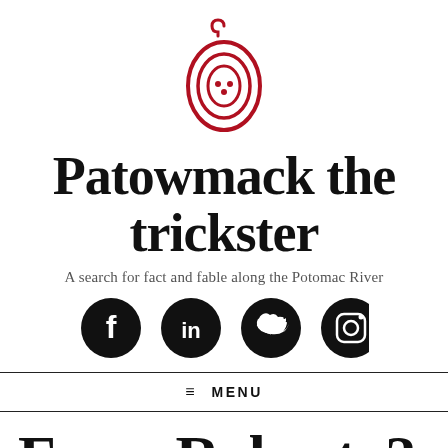[Figure (logo): Red decorative logo resembling a stylized gourd or pendant with concentric oval lines and small dot details, in dark red/crimson color]
Patowmack the trickster
A search for fact and fable along the Potomac River
[Figure (infographic): Four social media icons (Facebook, LinkedIn, Twitter, Instagram) as white symbols on black circular backgrounds, displayed in a row]
≡ MENU
From Roberto?